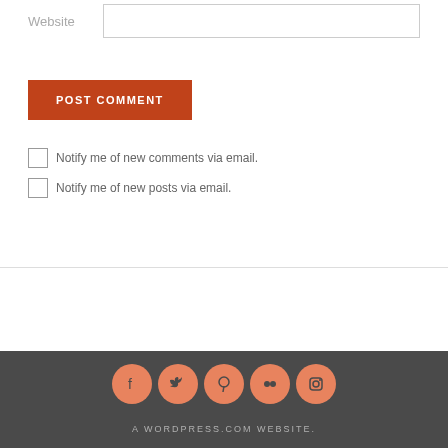Website
POST COMMENT
Notify me of new comments via email.
Notify me of new posts via email.
[Figure (infographic): Social media icon circles: Facebook, Twitter, Pinterest, Flickr, Instagram]
A WORDPRESS.COM WEBSITE.